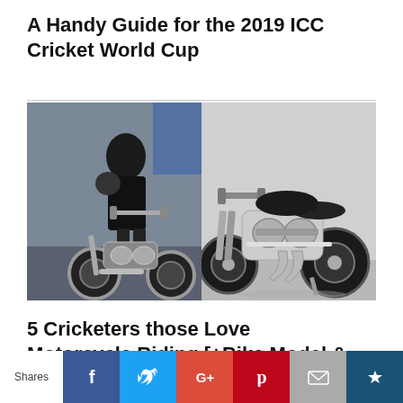A Handy Guide for the 2019 ICC Cricket World Cup
[Figure (photo): Two motorcycles side by side: left shows a man in black jacket standing with a heavy custom motorcycle, right shows a silver custom motorcycle standalone on light background]
5 Cricketers those Love Motorcycle Riding [+Bike Model & Photo]
[Figure (photo): Partial image of cricketers/sports players, cropped at bottom of page]
Shares  [Facebook] [Twitter] [Google+] [Pinterest] [Email] [Bookmark]